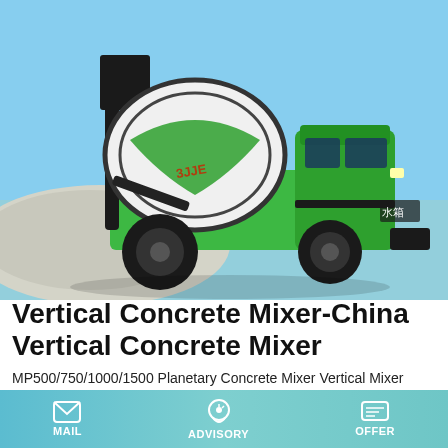[Figure (photo): Green and white self-loading concrete mixer truck (vertical concrete mixer) parked outdoors with blue sky and white gravel/rock pile in background. The drum is white with green stripes and the truck body/chassis is bright green with black accents. Chinese characters on water tank read 水箱.]
Vertical Concrete Mixer-China Vertical Concrete Mixer
MP500/750/1000/1500 Planetary Concrete Mixer Vertical Mixer Cement Mixer for Aggregate. US $ 15,000-45,000 / Set FOB. MOQ: 1 Set. Since 2020. Main Products. Block Machine. Block Making Machine. Concrete Block Machine.
MAIL   ADVISORY   OFFER